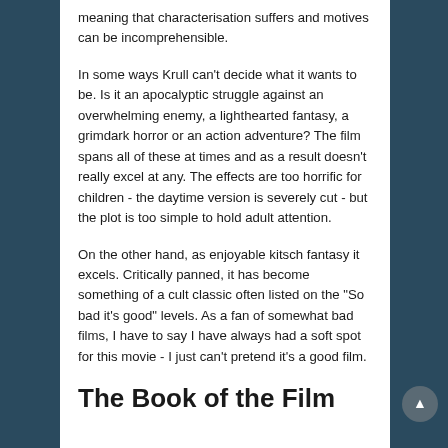meaning that characterisation suffers and motives can be incomprehensible.
In some ways Krull can't decide what it wants to be. Is it an apocalyptic struggle against an overwhelming enemy, a lighthearted fantasy, a grimdark horror or an action adventure? The film spans all of these at times and as a result doesn't really excel at any. The effects are too horrific for children - the daytime version is severely cut - but the plot is too simple to hold adult attention.
On the other hand, as enjoyable kitsch fantasy it excels. Critically panned, it has become something of a cult classic often listed on the "So bad it's good" levels. As a fan of somewhat bad films, I have to say I have always had a soft spot for this movie - I just can't pretend it's a good film.
The Book of the Film